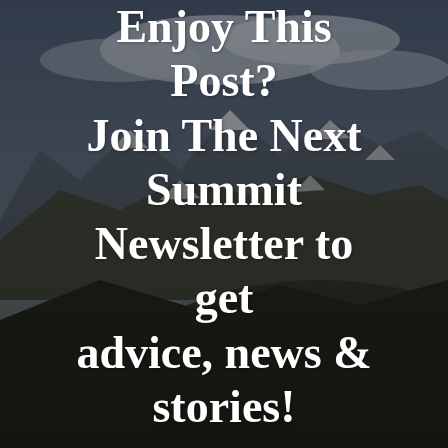[Figure (photo): Mountain landscape background with snow-capped peaks, dramatic cloudy sky, dark rocky terrain and green hills in the foreground, with a dark overlay tint.]
Enjoy This Post? Join The Next Summit Newsletter to get advice, news & stories!
First Name
Last Name